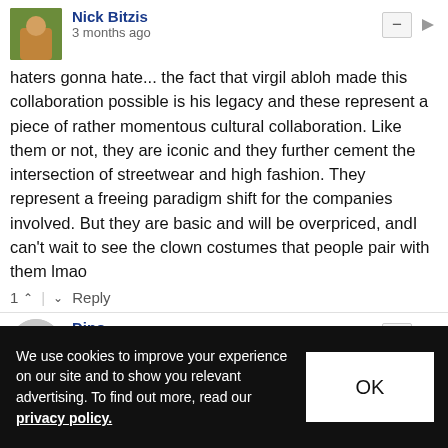Nick Bitzis
3 months ago
haters gonna hate... the fact that virgil abloh made this collaboration possible is his legacy and these represent a piece of rather momentous cultural collaboration. Like them or not, they are iconic and they further cement the intersection of streetwear and high fashion. They represent a freeing paradigm shift for the companies involved. But they are basic and will be overpriced, andI can't wait to see the clown costumes that people pair with them lmao
1 ↑ | ↓ Reply
Dino
3 months ago
Garbageeeeee
1 ↑ | ↓ Reply
Not Normal
We use cookies to improve your experience on our site and to show you relevant advertising. To find out more, read our privacy policy.